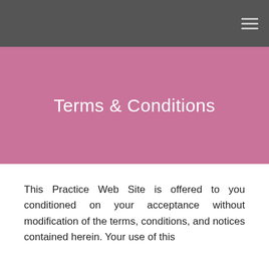Terms & Conditions
This Practice Web Site is offered to you conditioned on your acceptance without modification of the terms, conditions, and notices contained herein. Your use of this